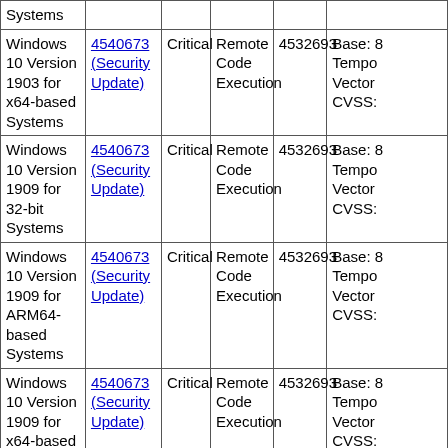| Product | Update | Severity | Impact | Supersedence | Score |
| --- | --- | --- | --- | --- | --- |
| Systems |  |  |  |  |  |
| Windows 10 Version 1903 for x64-based Systems | 4540673 (Security Update) | Critical | Remote Code Execution | 4532693 | Base: 8 Tempo Vector CVSS: |
| Windows 10 Version 1909 for 32-bit Systems | 4540673 (Security Update) | Critical | Remote Code Execution | 4532693 | Base: 8 Tempo Vector CVSS: |
| Windows 10 Version 1909 for ARM64-based Systems | 4540673 (Security Update) | Critical | Remote Code Execution | 4532693 | Base: 8 Tempo Vector CVSS: |
| Windows 10 Version 1909 for x64-based Systems | 4540673 (Security Update) | Critical | Remote Code Execution | 4532693 | Base: 8 Tempo Vector CVSS: |
| Windows 7 | 4540688 (Monthly |  |  |  | Base: 8 |